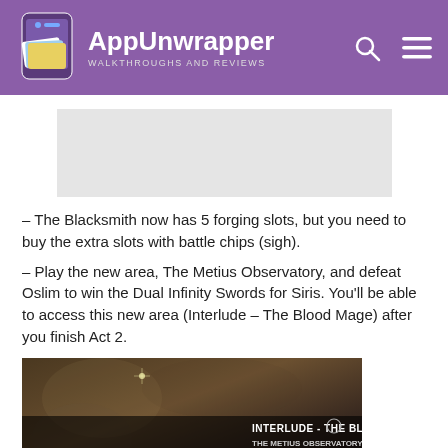AppUnwrapper – WALKTHROUGHS AND REVIEWS
[Figure (other): Gray advertisement placeholder block]
– The Blacksmith now has 5 forging slots, but you need to buy the extra slots with battle chips (sigh).
– Play the new area, The Metius Observatory, and defeat Oslim to win the Dual Infinity Swords for Siris. You'll be able to access this new area (Interlude – The Blood Mage) after you finish Act 2.
[Figure (screenshot): In-game screenshot showing INTERLUDE - THE BLOODMAGE and THE METIUS OBSERVATORY quest text reading: Terrovax hinted that the WORKER sent OSLIM, one of his most cunning Deathless Bloodmages, to investigate this ancient site. He travels armed with an Infinity Weapon...]